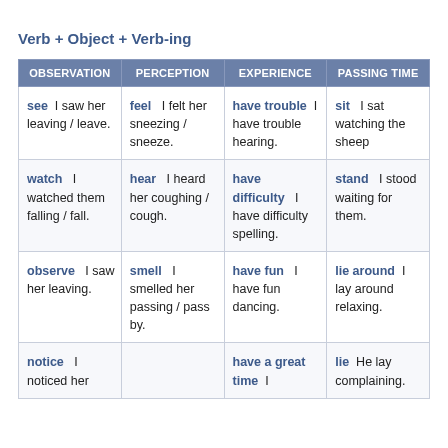Verb + Object + Verb-ing
| OBSERVATION | PERCEPTION | EXPERIENCE | PASSING TIME |
| --- | --- | --- | --- |
| see  I saw her leaving / leave. | feel  I felt her sneezing / sneeze. | have trouble  I have trouble hearing. | sit  I sat watching the sheep |
| watch  I watched them falling / fall. | hear  I heard her coughing / cough. | have difficulty  I have difficulty spelling. | stand  I stood waiting for them. |
| observe  I saw her leaving. | smell  I smelled her passing / pass by. | have fun  I have fun dancing. | lie around  I lay around relaxing. |
| notice  I noticed her |  | have a great time  I | lie  He lay complaining. |